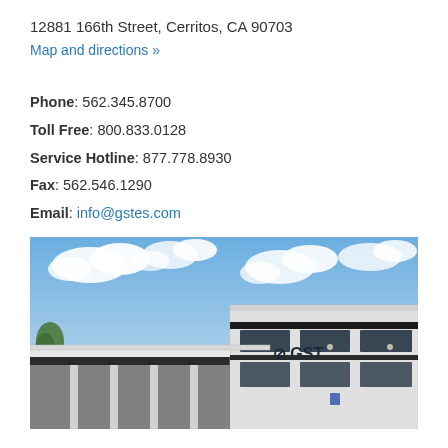12881 166th Street, Cerritos, CA 90703
Map and directions »
Phone: 562.345.8700
Toll Free: 800.833.0128
Service Hotline: 877.778.8930
Fax: 562.546.1290
Email: info@gstes.com
[Figure (photo): Exterior photo of a modern white commercial/industrial building with GST logo on the facade, blue sky with clouds in the background, parking area visible at front.]